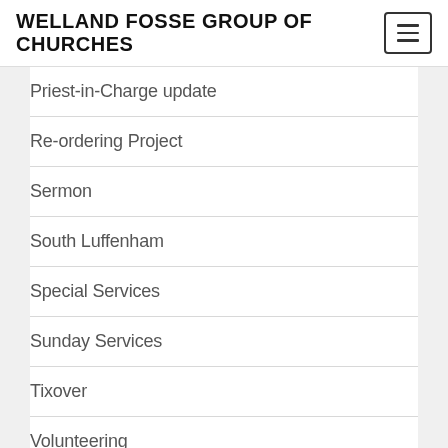WELLAND FOSSE GROUP OF CHURCHES
Priest-in-Charge update
Re-ordering Project
Sermon
South Luffenham
Special Services
Sunday Services
Tixover
Volunteering
Wakerley
Weekly Notices